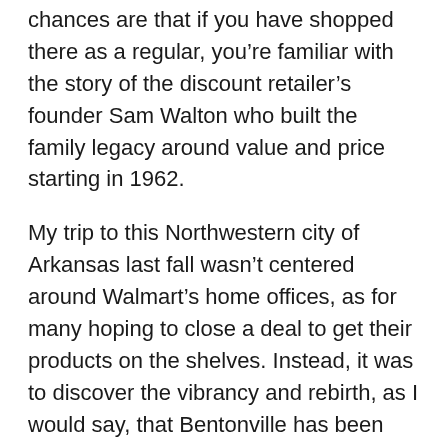chances are that if you have shopped there as a regular, you're familiar with the story of the discount retailer's founder Sam Walton who built the family legacy around value and price starting in 1962.
My trip to this Northwestern city of Arkansas last fall wasn't centered around Walmart's home offices, as for many hoping to close a deal to get their products on the shelves. Instead, it was to discover the vibrancy and rebirth, as I would say, that Bentonville has been going through over the last ten years. As I discovered, the Bentonville that I thought I knew from a distance, was not the Bentonville I found while there. What I found was a city making a name for itself sans its largest employer. A city actively changing as cities, states and the world around it change. Diversity is rising in what Bentonville has to offer, from culture and...